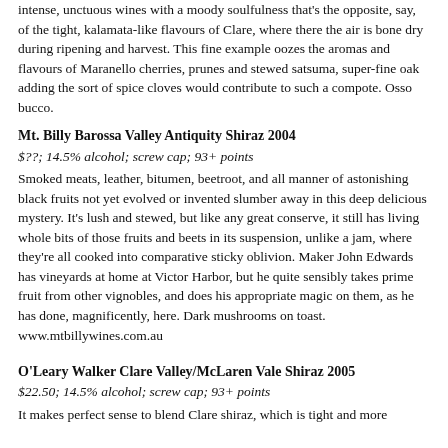intense, unctuous wines with a moody soulfulness that's the opposite, say, of the tight, kalamata-like flavours of Clare, where there the air is bone dry during ripening and harvest. This fine example oozes the aromas and flavours of Maranello cherries, prunes and stewed satsuma, super-fine oak adding the sort of spice cloves would contribute to such a compote. Osso bucco.
Mt. Billy Barossa Valley Antiquity Shiraz 2004
$??; 14.5% alcohol; screw cap; 93+ points
Smoked meats, leather, bitumen, beetroot, and all manner of astonishing black fruits not yet evolved or invented slumber away in this deep delicious mystery. It's lush and stewed, but like any great conserve, it still has living whole bits of those fruits and beets in its suspension, unlike a jam, where they're all cooked into comparative sticky oblivion. Maker John Edwards has vineyards at home at Victor Harbor, but he quite sensibly takes prime fruit from other vignobles, and does his appropriate magic on them, as he has done, magnificently, here. Dark mushrooms on toast. www.mtbillywines.com.au
O'Leary Walker Clare Valley/McLaren Vale Shiraz 2005
$22.50; 14.5% alcohol; screw cap; 93+ points
It makes perfect sense to blend Clare shiraz, which is tight and more